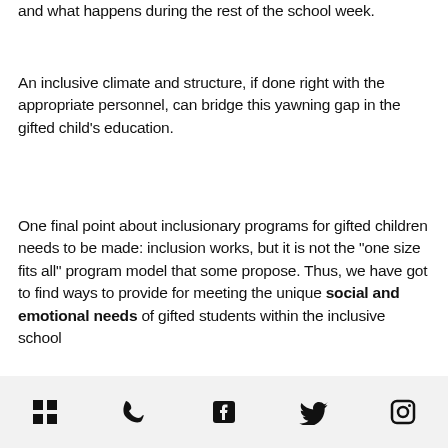and what happens during the rest of the school week.
An inclusive climate and structure, if done right with the appropriate personnel, can bridge this yawning gap in the gifted child's education.
One final point about inclusionary programs for gifted children needs to be made: inclusion works, but it is not the “one size fits all” program model that some propose. Thus, we have got to find ways to provide for meeting the unique social and emotional needs of gifted students within the inclusive school
icons: menu, phone, facebook, twitter, instagram